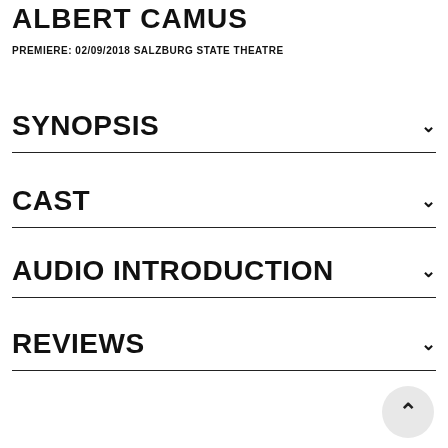ALBERT CAMUS
PREMIERE: 02/09/2018 SALZBURG STATE THEATRE
SYNOPSIS
CAST
AUDIO INTRODUCTION
REVIEWS